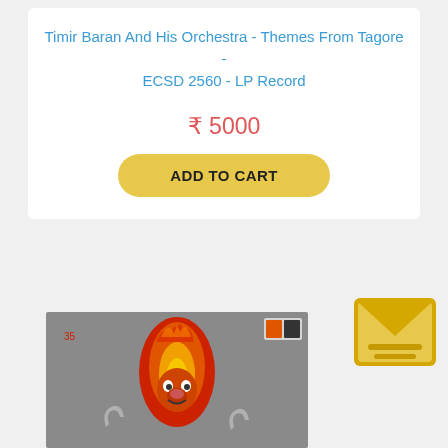Timir Baran And His Orchestra - Themes From Tagore - ECSD 2560 - LP Record
₹ 5000
ADD TO CART
[Figure (illustration): Email/message icon - golden yellow envelope with lines]
[Figure (photo): LP Record album cover showing a face surrounded by flames on a grey background, with a music label logo in top right corner]